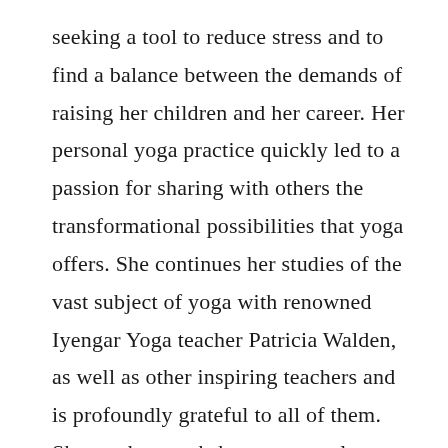seeking a tool to reduce stress and to find a balance between the demands of raising her children and her career. Her personal yoga practice quickly led to a passion for sharing with others the transformational possibilities that yoga offers. She continues her studies of the vast subject of yoga with renowned Iyengar Yoga teacher Patricia Walden, as well as other inspiring teachers and is profoundly grateful to all of them. She teaches workshops, group classes and maintains a private clientele throughout northern Westchester. In addition,